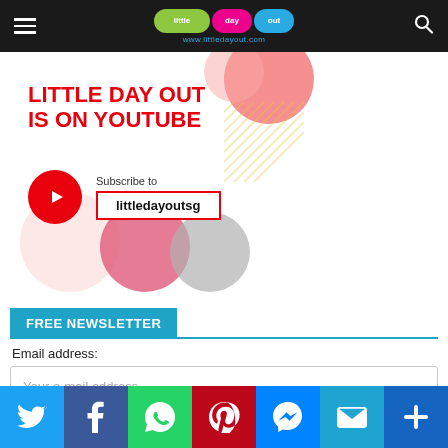Little Day Out — www.littledayout.com
[Figure (screenshot): Little Day Out is on YouTube promotional banner with YouTube logo, text 'Subscribe to littledayoutsg' in a red-bordered box, and colorful circle decorations on white background]
FREE NEWSLETTER
Email address:
Your e-mail address
Sign
[Figure (infographic): Social sharing bar with Twitter, Facebook, WhatsApp, Pinterest, Messenger, Email, and More icons]